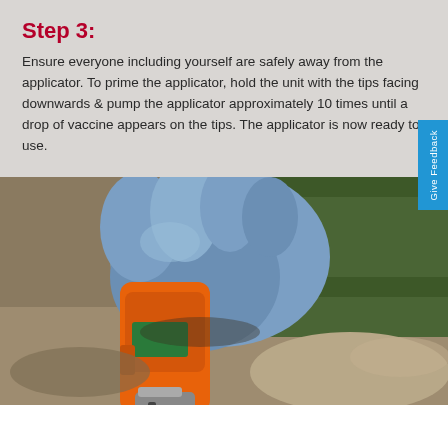Step 3:
Ensure everyone including yourself are safely away from the applicator. To prime the applicator, hold the unit with the tips facing downwards & pump the applicator approximately 10 times until a drop of vaccine appears on the tips. The applicator is now ready to use.
[Figure (photo): A gloved hand holding an orange Zoetis vaccine applicator device pointed downward toward the ground, outdoors.]